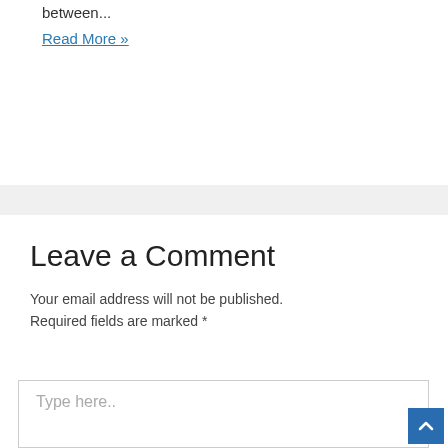between...
Read More »
Leave a Comment
Your email address will not be published.
Required fields are marked *
Type here..